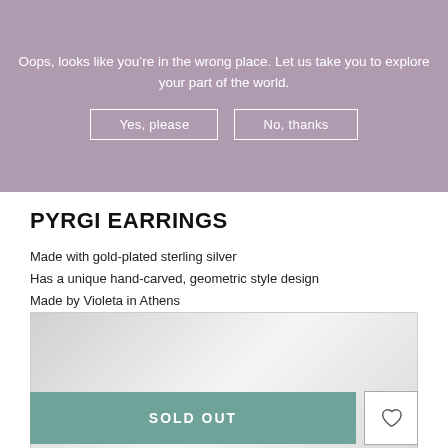Oops, looks like you’re in the wrong place. Let us take you to explore your part of the world.
Yes, please
No, thanks
PYRGI EARRINGS
Made with gold-plated sterling silver
Has a unique hand-carved, geometric style design
Made by Violeta in Athens
[Figure (photo): Product image placeholder — light grey gradient rectangle representing earring photo]
SOLD OUT